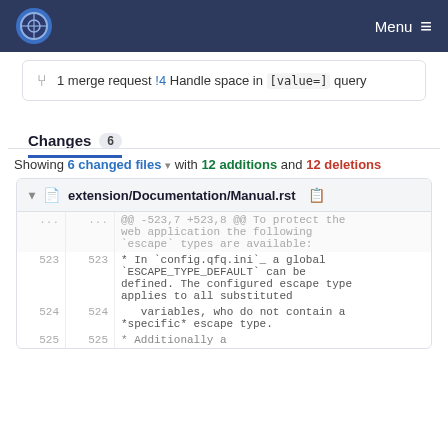Menu
1 merge request !4 Handle space in `[value=]` query
Changes 6
Showing 6 changed files with 12 additions and 12 deletions
extension/Documentation/Manual.rst
| old | new | content |
| --- | --- | --- |
| ... | ... | @@ -523,7 +523,8 @@ To protect the web application the following `escape` types are available: |
| 523 | 523 | * In `config.qfq.ini`_ a global `ESCAPE_TYPE_DEFAULT` can be defined. The configured escape type applies to all substituted |
| 524 | 524 |    variables, who do not contain a *specific* escape type. |
| 525 | 525 | * Additionally a |